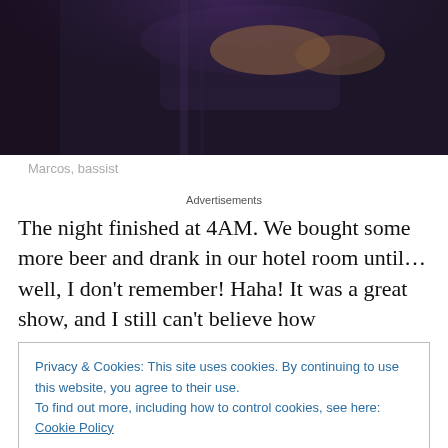[Figure (photo): Dark photo of a musician (Marcos, bassist) playing bass guitar on stage with purple/dark lighting, hands visible on the instrument neck]
Marcos, bassist
Advertisements
The night finished at 4AM. We bought some more beer and drank in our hotel room until… well, I don't remember! Haha! It was a great show, and I still can't believe how
Privacy & Cookies: This site uses cookies. By continuing to use this website, you agree to their use.
To find out more, including how to control cookies, see here: Cookie Policy
Close and accept
and asked us if we wanted to try ceviche. Of course we